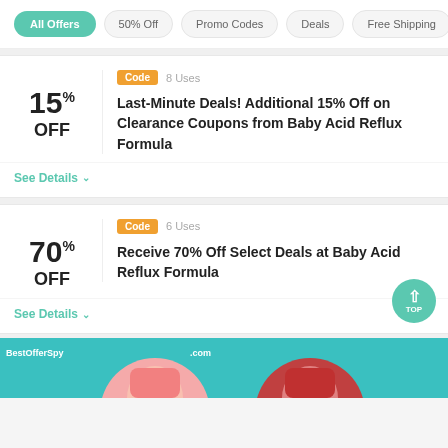All Offers | 50% Off | Promo Codes | Deals | Free Shipping
Code | 8 Uses — Last-Minute Deals! Additional 15% Off on Clearance Coupons from Baby Acid Reflux Formula — See Details
Code | 6 Uses — Receive 70% Off Select Deals at Baby Acid Reflux Formula — See Details
[Figure (photo): Advertisement banner with BestOfferSpy branding showing two women in swimwear by a pool]